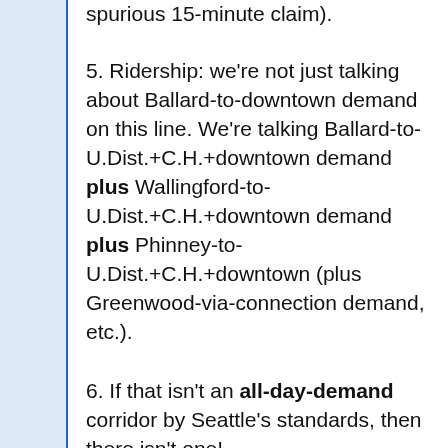spurious 15-minute claim).
5. Ridership: we're not just talking about Ballard-to-downtown demand on this line. We're talking Ballard-to-U.Dist.+C.H.+downtown demand plus Wallingford-to-U.Dist.+C.H.+downtown demand plus Phinney-to-U.Dist.+C.H.+downtown (plus Greenwood-via-connection demand, etc.).
6. If that isn't an all-day-demand corridor by Seattle's standards, then there isn't one!